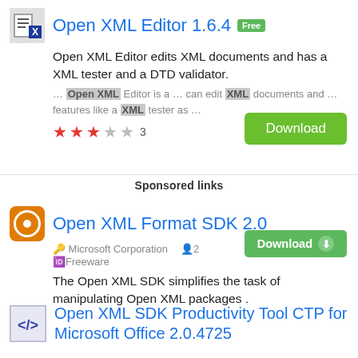Open XML Editor 1.6.4 Free
Open XML Editor edits XML documents and has a XML tester and a DTD validator.
… Open XML Editor is a … can edit XML documents and … features like a XML tester as …
★★★☆☆ 3
Download
Sponsored links
Open XML Format SDK 2.0
Microsoft Corporation  2  Freeware
Download
The Open XML SDK simplifies the task of manipulating Open XML packages .
Open XML SDK Productivity Tool CTP for Microsoft Office 2.0.4725